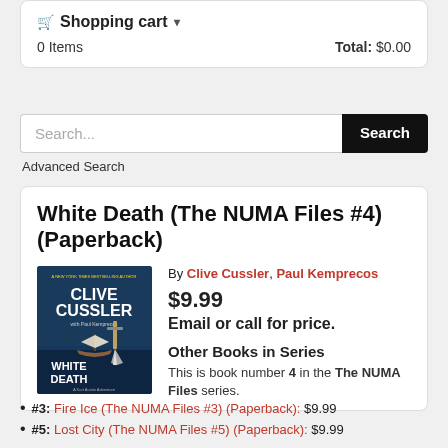🛒 Shopping cart ▾
0 Items   Total: $0.00
Search...
Advanced Search
White Death (The NUMA Files #4) (Paperback)
By Clive Cussler, Paul Kemprecos
$9.99
Email or call for price.
[Figure (illustration): Book cover of White Death by Clive Cussler with Paul Kemprecos, showing a sailing ship and a dagger on dark background]
Other Books in Series
This is book number 4 in the The NUMA Files series.
#3: Fire Ice (The NUMA Files #3) (Paperback): $9.99
#5: Lost City (The NUMA Files #5) (Paperback): $9.99